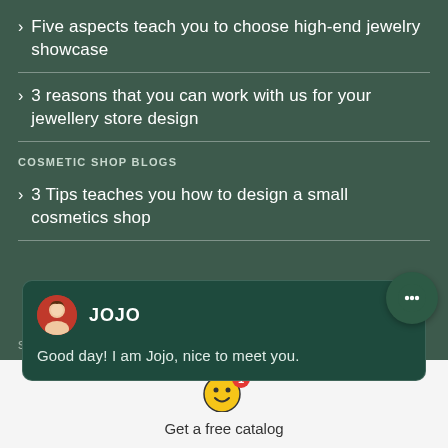> Five aspects teach you to choose high-end jewelry showcase
> 3 reasons that you can work with us for your jewellery store design
COSMETIC SHOP BLOGS
> 3 Tips teaches you how to design a small cosmetics shop
[Figure (other): Chat widget with avatar of JOJO and message: Good day! I am Jojo, nice to meet you.]
[Figure (other): Notification icon with smiley face and badge showing 1]
Get a free catalog